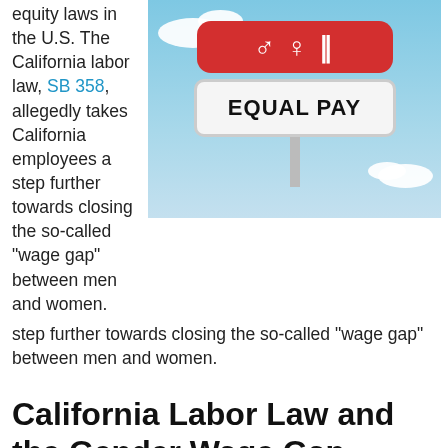equity laws in the U.S. The California labor law, SB 358, allegedly takes California employees a step further towards closing the so-called "wage gap" between men and women.
[Figure (photo): Road sign with red rounded rectangle at top (showing male/female symbols) and white rounded rectangle below reading EQUAL PAY, on a pole against a blue sky with clouds.]
California Labor Law and the Gender Wage Gap
According to a U.S Census Bureau report this year, women in California who work full time are paid less than men at a median rate of 84 cents for every dollar. Although these figures have been touted by